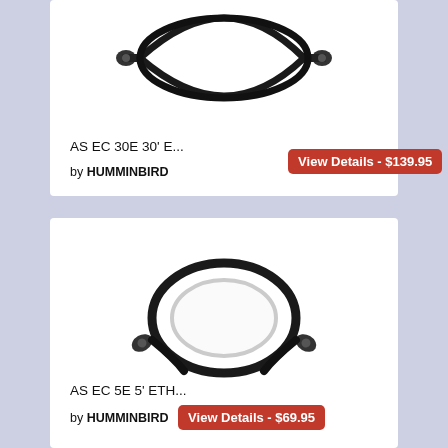[Figure (photo): Coiled black Ethernet cable with connectors on both ends - 30 foot cable by HUMMINBIRD]
AS EC 30E 30' E...
by HUMMINBIRD
View Details - $139.95
[Figure (photo): Coiled black Ethernet cable with connectors on both ends - 5 foot cable by HUMMINBIRD]
AS EC 5E 5' ETH...
by HUMMINBIRD
View Details - $69.95